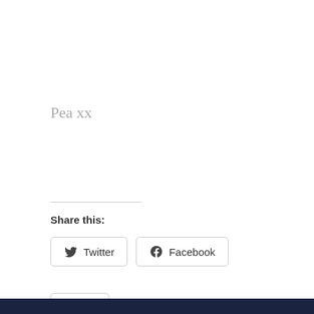Pea xx
Share this:
[Figure (screenshot): Twitter and Facebook share buttons with rounded borders]
[Figure (screenshot): Like button with blue star icon]
Be the first to like this.
Privacy & Cookies: This site uses cookies. By continuing to use this website, you agree to their use.
To find out more, including how to control cookies, see here:
Cookie Policy
Close and accept